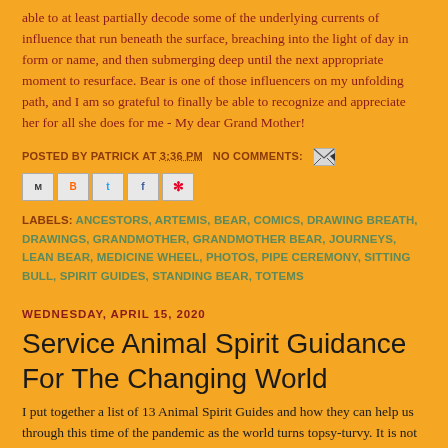able to at least partially decode some of the underlying currents of influence that run beneath the surface, breaching into the light of day in form or name, and then submerging deep until the next appropriate moment to resurface. Bear is one of those influencers on my unfolding path, and I am so grateful to finally be able to recognize and appreciate her for all she does for me - My dear Grand Mother!
POSTED BY PATRICK AT 3:36 PM   NO COMMENTS:
LABELS: ANCESTORS, ARTEMIS, BEAR, COMICS, DRAWING BREATH, DRAWINGS, GRANDMOTHER, GRANDMOTHER BEAR, JOURNEYS, LEAN BEAR, MEDICINE WHEEL, PHOTOS, PIPE CEREMONY, SITTING BULL, SPIRIT GUIDES, STANDING BEAR, TOTEMS
WEDNESDAY, APRIL 15, 2020
Service Animal Spirit Guidance For The Changing World
I put together a list of 13 Animal Spirit Guides and how they can help us through this time of the pandemic as the world turns topsy-turvy. It is not a